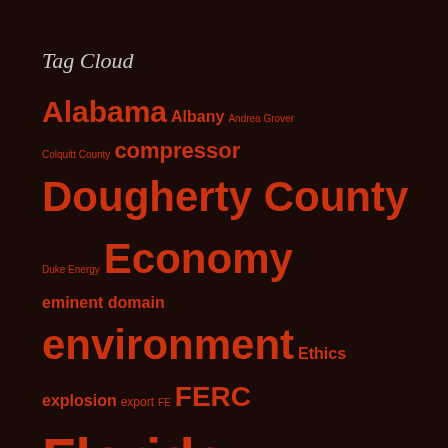Tag Cloud
Alabama Albany Andrea Grover Colquitt County compressor Dougherty County Duke Energy Economy eminent domain environment Ethics explosion export FE FERC Florida Florida Southeast Connection FPL Fracking Georgia Hazards Health Hillabee Expansion Project John S